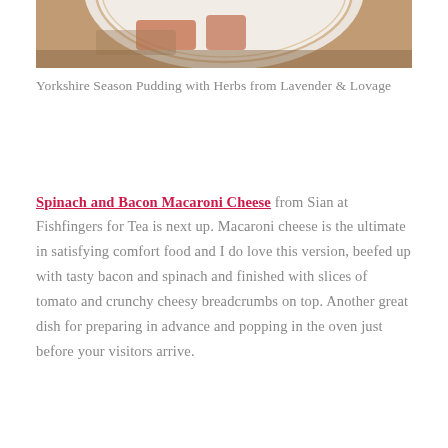[Figure (photo): Partial view of a white plate with gold rim on a wooden surface, cropped at the top of the page showing only the lower portion of a dish]
Yorkshire Season Pudding with Herbs from Lavender & Lovage
Spinach and Bacon Macaroni Cheese from Sian at Fishfingers for Tea is next up. Macaroni cheese is the ultimate in satisfying comfort food and I do love this version, beefed up with tasty bacon and spinach and finished with slices of tomato and crunchy cheesy breadcrumbs on top. Another great dish for preparing in advance and popping in the oven just before your visitors arrive.